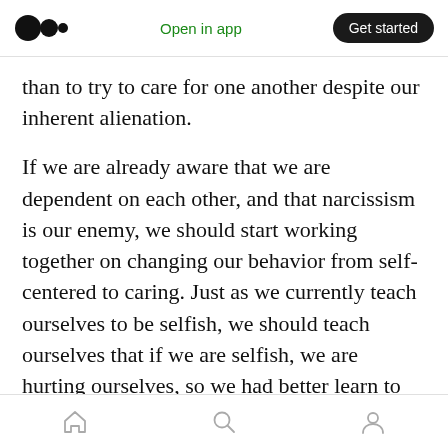Medium logo | Open in app | Get started
than to try to care for one another despite our inherent alienation.
If we are already aware that we are dependent on each other, and that narcissism is our enemy, we should start working together on changing our behavior from self-centered to caring. Just as we currently teach ourselves to be selfish, we should teach ourselves that if we are selfish, we are hurting ourselves, so we had better learn to be unselfish. If many of us work on it together, around the world, then it is not too late.
Home | Search | Profile